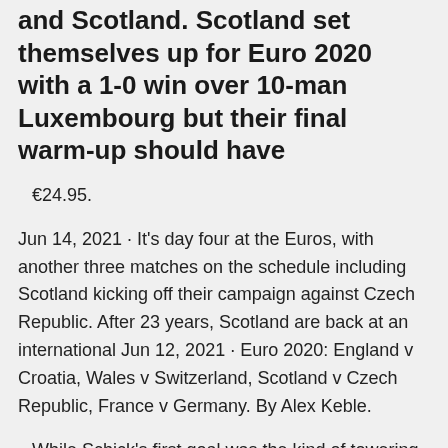and Scotland. Scotland set themselves up for Euro 2020 with a 1-0 win over 10-man Luxembourg but their final warm-up should have
€24.95.
Jun 14, 2021 · It's day four at the Euros, with another three matches on the schedule including Scotland kicking off their campaign against Czech Republic. After 23 years, Scotland are back at an international Jun 12, 2021 · Euro 2020: England v Croatia, Wales v Switzerland, Scotland v Czech Republic, France v Germany. By Alex Keble.
While Schick's first goal was the kind of towering Jun 10, 2021 · So here's our Euro 2020 top strikers to